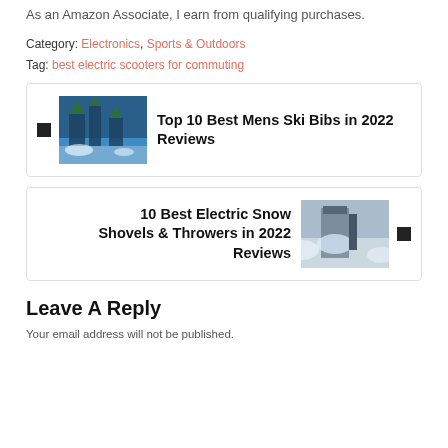As an Amazon Associate, I earn from qualifying purchases.
Category: Electronics, Sports & Outdoors
Tag: best electric scooters for commuting
Top 10 Best Mens Ski Bibs in 2022 Reviews
10 Best Electric Snow Shovels & Throwers in 2022 Reviews
Leave A Reply
Your email address will not be published.